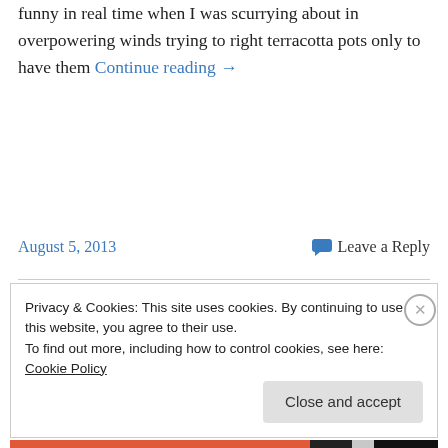funny in real time when I was scurrying about in overpowering winds trying to right terracotta pots only to have them Continue reading →
August 5, 2013
Leave a Reply
Privacy & Cookies: This site uses cookies. By continuing to use this website, you agree to their use.
To find out more, including how to control cookies, see here: Cookie Policy
Close and accept